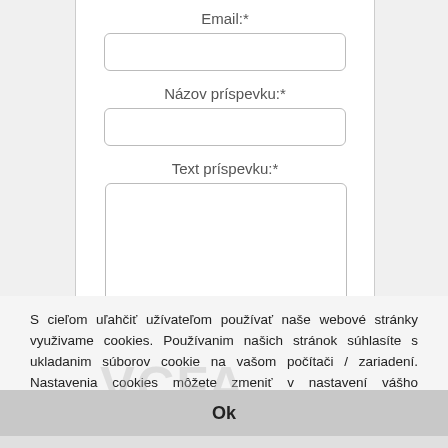Email:*
[Figure (other): Email input text field (empty)]
Názov príspevku:*
[Figure (other): Názov príspevku input text field (empty)]
Text príspevku:*
[Figure (other): Text príspevku textarea (empty, resizable)]
S cieľom uľahčiť užívateľom používať naše webové stránky využivame cookies. Používanim našich stránok súhlasíte s ukladanim súborov cookie na vašom počítači / zariadení. Nastavenia cookies môžete zmeniť v nastavení vášho prehliadača.
Ok